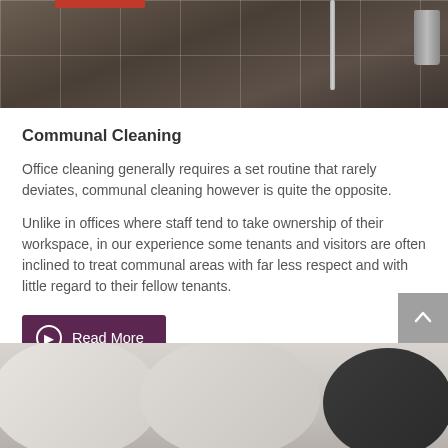[Figure (photo): Photo of a commercial tile floor in a lobby or communal area, with dark grey/brown tiles and white grout lines. A red bar and metal pole visible at top, plus a metallic trash can at right edge.]
Communal Cleaning
Office cleaning generally requires a set routine that rarely deviates, communal cleaning however is quite the opposite.
Unlike in offices where staff tend to take ownership of their workspace, in our experience some tenants and visitors are often inclined to treat communal areas with far less respect and with little regard to their fellow tenants.
Read More
[Figure (photo): Partial photo at bottom of page showing rounded white/cream tabletops or chairs in a communal area, with a dark object at the right edge.]